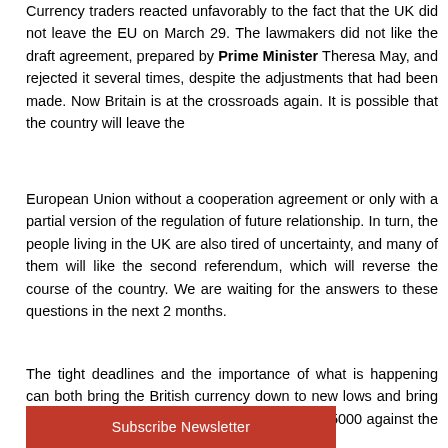Currency traders reacted unfavorably to the fact that the UK did not leave the EU on March 29. The lawmakers did not like the draft agreement, prepared by Prime Minister Theresa May, and rejected it several times, despite the adjustments that had been made. Now Britain is at the crossroads again. It is possible that the country will leave the
European Union without a cooperation agreement or only with a partial version of the regulation of future relationship. In turn, the people living in the UK are also tired of uncertainty, and many of them will like the second referendum, which will reverse the course of the country. We are waiting for the answers to these questions in the next 2 months.
The tight deadlines and the importance of what is happening can both bring the British currency down to new lows and bring it closer to the global average, that is, above 1.5000 against the US dollar.
Subscribe Newsletter